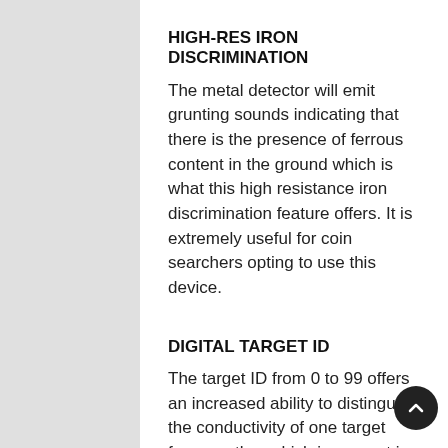HIGH-RES IRON DISCRIMINATION
The metal detector will emit grunting sounds indicating that there is the presence of ferrous content in the ground which is what this high resistance iron discrimination feature offers. It is extremely useful for coin searchers opting to use this device.
DIGITAL TARGET ID
The target ID from 0 to 99 offers an increased ability to distinguish the conductivity of one target from another which is present in and on the surface of the particular terrain.